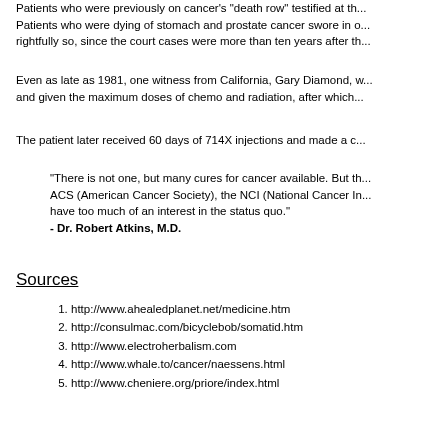Patients who were previously on cancer's "death row" testified at th... Patients who were dying of stomach and prostate cancer swore in o... rightfully so, since the court cases were more than ten years after th...
Even as late as 1981, one witness from California, Gary Diamond, w... and given the maximum doses of chemo and radiation, after which...
The patient later received 60 days of 714X injections and made a c...
"There is not one, but many cures for cancer available. But th... ACS (American Cancer Society), the NCI (National Cancer In... have too much of an interest in the status quo."
- Dr. Robert Atkins, M.D.
Sources
http://www.ahealedplanet.net/medicine.htm
http://consulmac.com/bicyclebob/somatid.htm
http://www.electroherbalism.com
http://www.whale.to/cancer/naessens.html
http://www.cheniere.org/priore/index.html